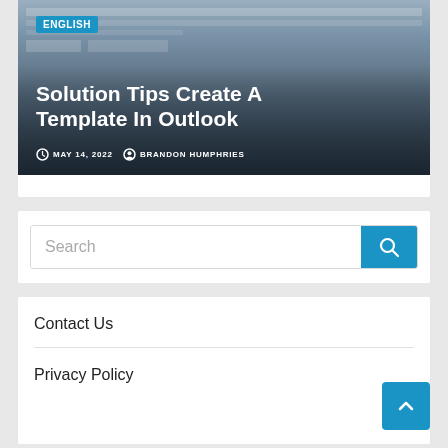[Figure (screenshot): Thumbnail image showing a Windows file explorer screenshot with dark overlay. Contains an 'ENGLISH' badge, article title 'Solution Tips Create A Template In Outlook', date 'MAY 14, 2022', and author 'BRANDON HUMPHRIES'.]
Search
Contact Us
Privacy Policy